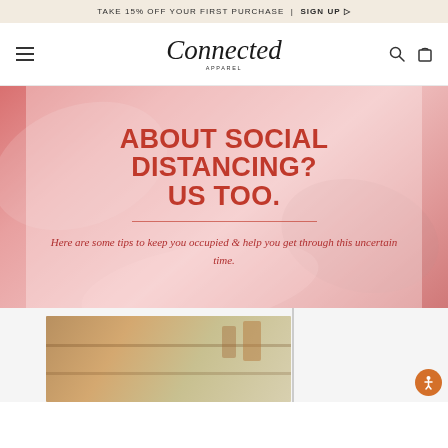TAKE 15% OFF YOUR FIRST PURCHASE | SIGN UP ▷
Connected Apparel
[Figure (infographic): Pink marbled background banner with bold red text reading 'ABOUT SOCIAL DISTANCING? US TOO.' with a horizontal divider line and italic serif subtitle 'Here are some tips to keep you occupied & help you get through this uncertain time.']
[Figure (photo): Partial view of a lifestyle photo at the bottom of the page, partially cropped]